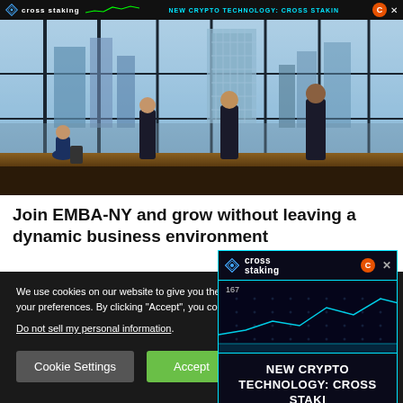cross staking | NEW CRYPTO TECHNOLOGY: CROSS STAKI
[Figure (photo): Business professionals standing in a high-rise building with large glass windows overlooking a city skyline with skyscrapers]
Join EMBA-NY and grow without leaving a dynamic business environment
We use cookies on our website to give you the best experience by remembering your preferences. By clicking "Accept", you consent to the use of
Do not sell my personal information.
[Figure (other): Cross staking advertisement popup with logo, chart area showing 167, and text NEW CRYPTO TECHNOLOGY: CROSS STAKI]